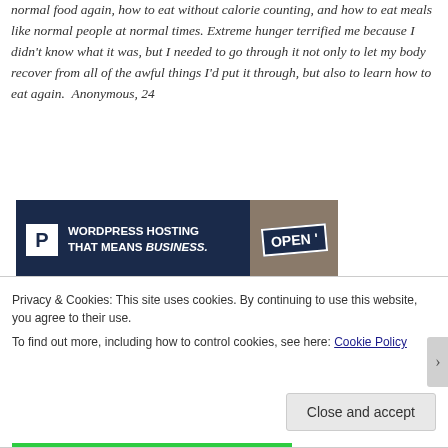normal food again, how to eat without calorie counting, and how to eat meals like normal people at normal times. Extreme hunger terrified me because I didn't know what it was, but I needed to go through it not only to let my body recover from all of the awful things I'd put it through, but also to learn how to eat again.  Anonymous, 24
[Figure (infographic): Advertisement banner for WordPress hosting with dark navy background, Pressable 'P' icon on left, text 'WORDPRESS HOSTING THAT MEANS BUSINESS.' and an image of an OPEN sign on the right.]
Privacy & Cookies: This site uses cookies. By continuing to use this website, you agree to their use.
To find out more, including how to control cookies, see here: Cookie Policy